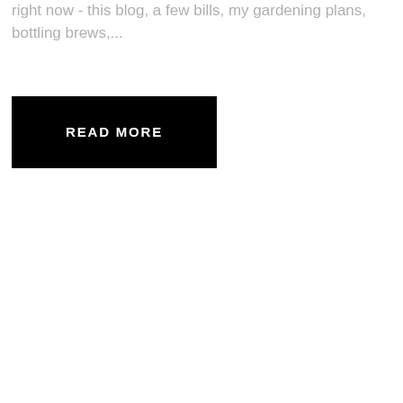right now - this blog, a few bills, my gardening plans, bottling brews,...
READ MORE